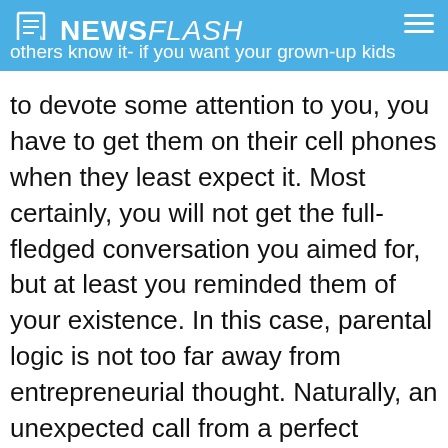NEWSFLASH
others know it- if you want your grown-up kids to devote some attention to you, you have to get them on their cell phones when they least expect it. Most certainly, you will not get the full-fledged conversation you aimed for, but at least you reminded them of your existence. In this case, parental logic is not too far away from entrepreneurial thought. Naturally, an unexpected call from a perfect stranger advertising for a product is a nuisance. Luckily, mobile devices allow for much less obtrusive ways of connecting with potential clients. Implementing the use of SMS platforms and text messaging methods into your communication strategy can vitally improve